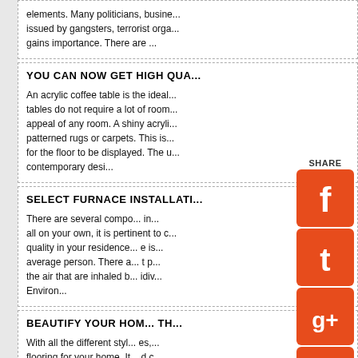elements. Many politicians, busine... issued by gangsters, terrorist orga... gains importance. There are ...
YOU CAN NOW GET HIGH QUA...
An acrylic coffee table is the ideal... tables do not require a lot of room... appeal of any room. A shiny acryli... patterned rugs or carpets. This is... for the floor to be displayed. The u... contemporary desi...
SELECT FURNACE INSTALLATI...
There are several compo... in... all on your own, it is pertinent to c... quality in your residence... e is... average person. There a... t p... the air that are inhaled b... idiv... Environ...
BEAUTIFY YOUR HOM... TH...
With all the different styl... es,... flooring for your home. It... d c... be no problem if you sele... rig... pick out the best flooring... ns i...
[Figure (infographic): Social media share icons panel: SHARE label, Facebook (red square with white F), Tumblr (red square with white t), Google+ (red square with g+), LinkedIn (red square with in), Tumblr.com (red square with t.), StumbleUpon (red square with SU logo)]